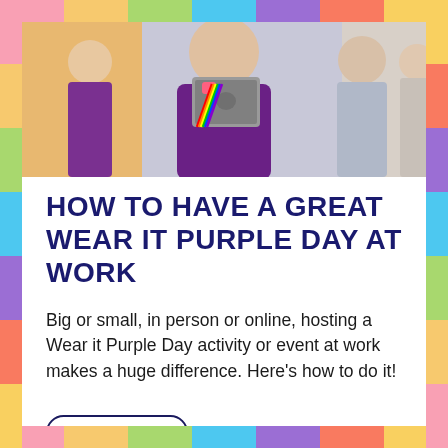[Figure (photo): Photo of a person in a purple shirt holding a laptop with a pride heart sticker, wearing a rainbow lanyard, standing among other people in an office/event setting.]
HOW TO HAVE A GREAT WEAR IT PURPLE DAY AT WORK
Big or small, in person or online, hosting a Wear it Purple Day activity or event at work makes a huge difference. Here's how to do it!
wear it purple